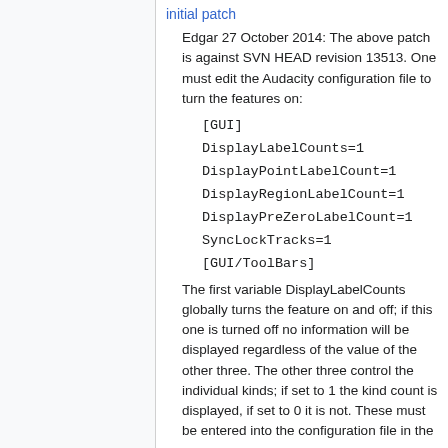initial patch
Edgar 27 October 2014: The above patch is against SVN HEAD revision 13513. One must edit the Audacity configuration file to turn the features on:
[GUI]
DisplayLabelCounts=1
DisplayPointLabelCount=1
DisplayRegionLabelCount=1
DisplayPreZeroLabelCount=1
SyncLockTracks=1
[GUI/ToolBars]
The first variable DisplayLabelCounts globally turns the feature on and off; if this one is turned off no information will be displayed regardless of the value of the other three. The other three control the individual kinds; if set to 1 the kind count is displayed, if set to 0 it is not. These must be entered into the configuration file in the